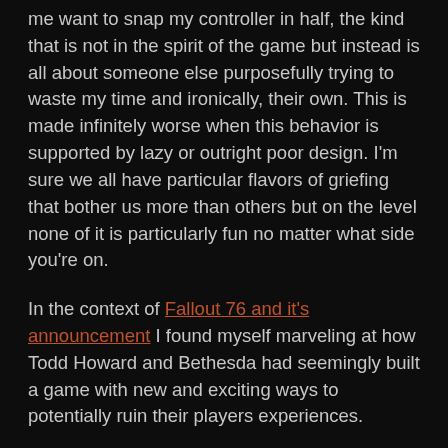me want to snap my controller in half, the kind that is not in the spirit of the game but instead is all about someone else purposefully trying to waste my time and ironically, their own. This is made infinitely worse when this behavior is supported by lazy or outright poor design. I'm sure we all have particular flavors of griefing that bother us more than others but on the level none of it is particularly fun no matter what side you're on.
In the context of Fallout 76 and it's announcement I found myself marveling at how Todd Howard and Bethesda had seemingly built a game with new and exciting ways to potentially ruin their players experiences.
No, really.
I know it sounds like hyperbole but they decided to